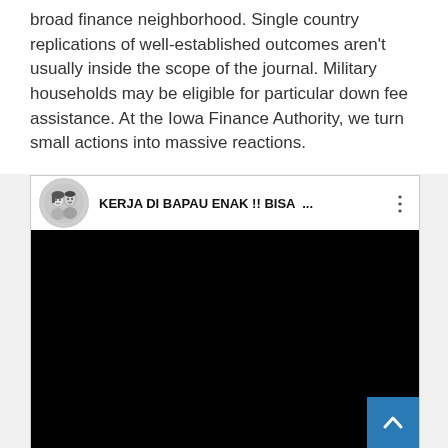broad finance neighborhood. Single country replications of well-established outcomes aren't usually inside the scope of the journal. Military households may be eligible for particular down fee assistance. At the Iowa Finance Authority, we turn small actions into massive reactions.
[Figure (screenshot): Embedded YouTube-style video player with a dark header showing a cartoon couple avatar, the title 'KERJA DI BAPAU ENAK !! BISA ...' and a three-dot menu icon. The video area is black. A blue scroll-to-top button with an upward chevron is visible in the bottom-right corner.]